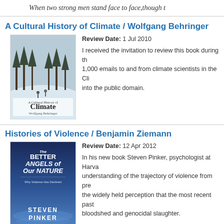When two strong men stand face to face, though t
A Cultural History of Climate / Wolfgang Behringer
[Figure (illustration): Book cover of 'A Cultural History of Climate' by Wolfgang Behringer, showing a winter scene with trees and figures]
Review Date: 1 Jul 2010
I received the invitation to review this book during th... 1,000 emails to and from climate scientists in the Cli... into the public domain.
Histories of Violence / Benjamin Ziemann
[Figure (illustration): Book cover of 'The Better Angels of Our Nature' by Steven Pinker, blue gradient background]
Review Date: 12 Apr 2012
In his new book Steven Pinker, psychologist at Harva... understanding of the trajectory of violence from pre... the widely held perception that the most recent past... bloodshed and genocidal slaughter.
To Explain the World: the Discovery of Modern Science / Steven W